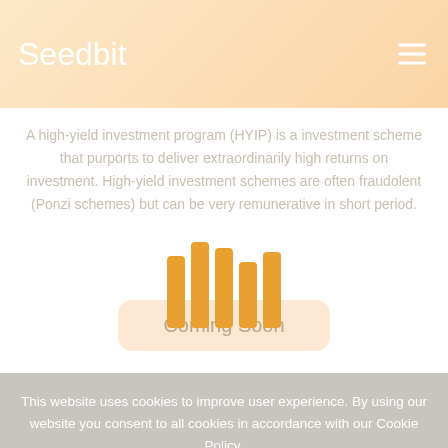Seedbit
A high-yield investment program (HYIP) is a investment scheme that purports to deliver extraordinarily high returns on investment. High-yield investment schemes are often fraudolent (Ponzi schemes) but can be very remunerative in short period.
[Figure (other): Orange vertical bar chart with 5 bars of varying heights overlapping a Coming Soon button]
Coming Soon
This website uses cookies to improve user experience. By using our website you consent to all cookies in accordance with our Cookie Policy.
Read More
I Agree